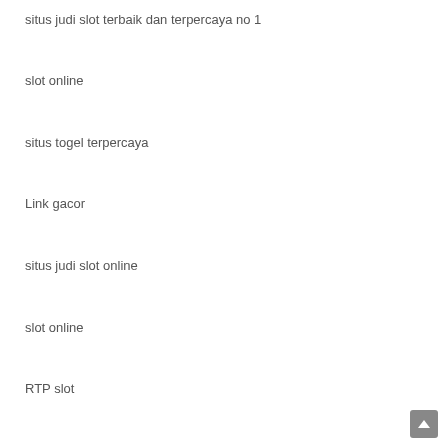situs judi slot terbaik dan terpercaya no 1
slot online
situs togel terpercaya
Link gacor
situs judi slot online
slot online
RTP slot